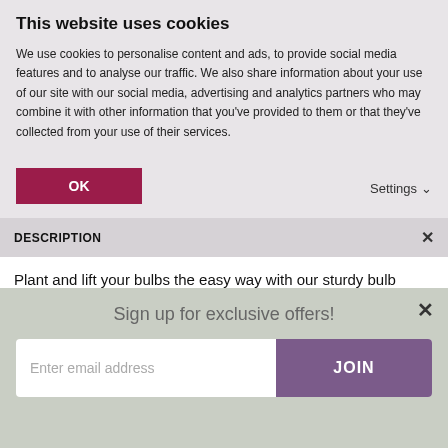This website uses cookies
We use cookies to personalise content and ads, to provide social media features and to analyse our traffic. We also share information about your use of our site with our social media, advertising and analytics partners who may combine it with other information that you've provided to them or that they've collected from your use of their services.
OK
Settings
DESCRIPTION
Plant and lift your bulbs the easy way with our sturdy bulb baskets. Place a layer of soil in your basket and space your bulbs at the recommended distance. Dig out a planting hole at the right depth and bury the basket complete with the bulbs. After flowering simply lift
Sign up for exclusive offers!
Enter email address
JOIN